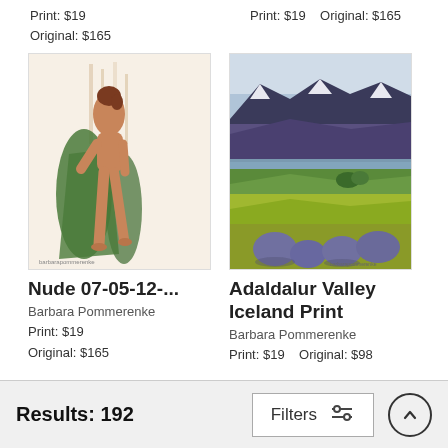Print: $19
Original: $165
Print: $19  Original: $165
[Figure (illustration): Watercolor illustration of a nude female figure draped in green fabric, standing pose]
[Figure (illustration): Watercolor landscape painting of Adaldalur Valley in Iceland with mountains, fields, and large purple/grey boulders in foreground]
Nude 07-05-12-...
Barbara Pommerenke
Print: $19
Original: $165
Adaldalur Valley Iceland Print
Barbara Pommerenke
Print: $19  Original: $98
Results: 192
Filters